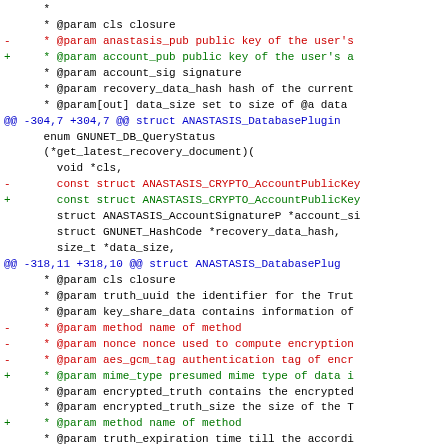[Figure (screenshot): Code diff showing changes to database plugin interface in a C header file, with context lines in black, removed lines (prefixed with -) in red, added lines (prefixed with +) in green, and hunk headers in blue/cyan.]